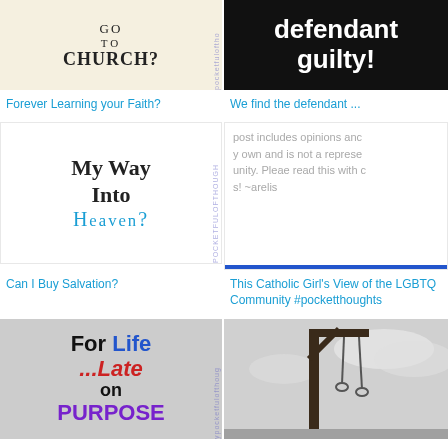[Figure (illustration): Blog thumbnail showing text 'GO TO CHURCH?' on aged paper background with watermark]
Forever Learning your Faith?
[Figure (illustration): Blog thumbnail showing text 'defendant guilty!' in white on black background]
We find the defendant ...
[Figure (illustration): Blog thumbnail showing 'My Way Into Heaven?' in mixed fonts on white background]
Can I Buy Salvation?
[Figure (illustration): Blog thumbnail showing partial text about opinions, with blue line at bottom]
This Catholic Girl's View of the LGBTQ Community #pocketthoughts
[Figure (illustration): Blog thumbnail showing 'For Life ...Late on PURPOSE' in colorful bold text on cracked background]
March for Life ... Late on Purpose
[Figure (photo): Black and white photo of a gallows structure against cloudy sky]
Genesis 9 - The Introduction of the Death Penalty